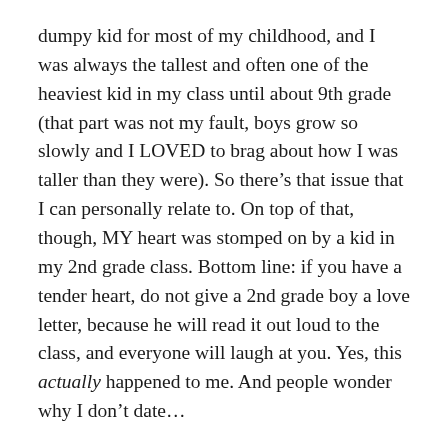dumpy kid for most of my childhood, and I was always the tallest and often one of the heaviest kid in my class until about 9th grade (that part was not my fault, boys grow so slowly and I LOVED to brag about how I was taller than they were). So there's that issue that I can personally relate to. On top of that, though, MY heart was stomped on by a kid in my 2nd grade class. Bottom line: if you have a tender heart, do not give a 2nd grade boy a love letter, because he will read it out loud to the class, and everyone will laugh at you. Yes, this actually happened to me. And people wonder why I don't date…
Back to the episode. Min Ji gets to confront Jun